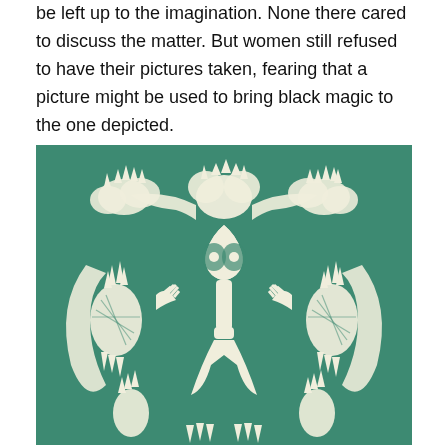be left up to the imagination. None there cared to discuss the matter. But women still refused to have their pictures taken, fearing that a picture might be used to bring black magic to the one depicted.
[Figure (illustration): A decorative folk art paper-cut style illustration showing symmetrical white/cream colored figures, pineapples, birds or stylized creatures, and ornate plant motifs arranged on a teal/green background.]